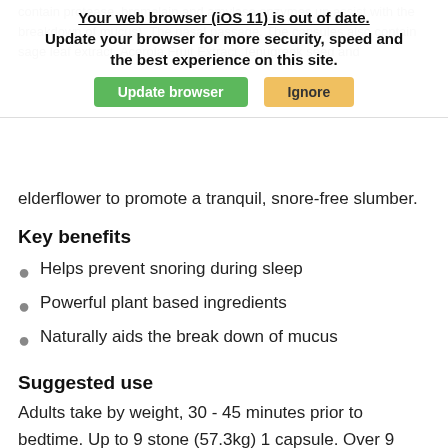Your web browser (iOS 11) is out of date. Update your browser for more security, speed and the best experience on this site.
elderflower to promote a tranquil, snore-free slumber.
Key benefits
Helps prevent snoring during sleep
Powerful plant based ingredients
Naturally aids the break down of mucus
Suggested use
Adults take by weight, 30 - 45 minutes prior to bedtime. Up to 9 stone (57.3kg) 1 capsule. Over 9 stone (57.3kg plus) 2 capsules. For best results use for at least 30 days.
Please always read the product label prior to